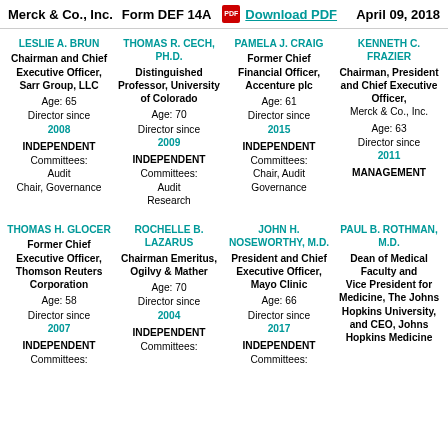Merck & Co., Inc.   Form DEF 14A   Download PDF   April 09, 2018
LESLIE A. BRUN | Chairman and Chief Executive Officer, Sarr Group, LLC | Age: 65 | Director since 2008 | INDEPENDENT | Committees: Audit, Chair, Governance
THOMAS R. CECH, PH.D. | Distinguished Professor, University of Colorado | Age: 70 | Director since 2009 | INDEPENDENT | Committees: Audit, Research
PAMELA J. CRAIG | Former Chief Financial Officer, Accenture plc | Age: 61 | Director since 2015 | INDEPENDENT | Committees: Chair, Audit, Governance
KENNETH C. FRAZIER | Chairman, President and Chief Executive Officer, Merck & Co., Inc. | Age: 63 | Director since 2011 | MANAGEMENT
THOMAS H. GLOCER | Former Chief Executive Officer, Thomson Reuters Corporation | Age: 58 | Director since 2007 | INDEPENDENT | Committees:
ROCHELLE B. LAZARUS | Chairman Emeritus, Ogilvy & Mather | Age: 70 | Director since 2004 | INDEPENDENT | Committees:
JOHN H. NOSEWORTHY, M.D. | President and Chief Executive Officer, Mayo Clinic | Age: 66 | Director since 2017 | INDEPENDENT | Committees:
PAUL B. ROTHMAN, M.D. | Dean of Medical Faculty and Vice President for Medicine, The Johns Hopkins University, and CEO, Johns Hopkins Medicine | Age: | Director since | INDEPENDENT